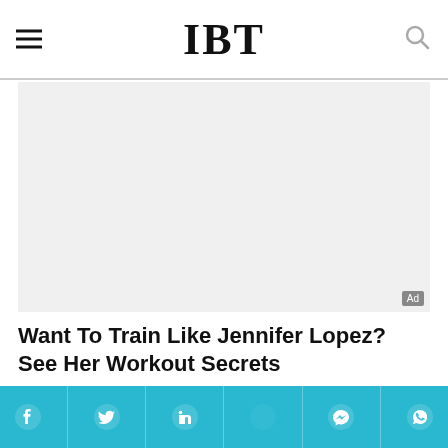IBT
[Figure (other): Advertisement image placeholder with light gray background and Ad badge in bottom-right corner]
Want To Train Like Jennifer Lopez? See Her Workout Secrets
HERBEAUTY
[Figure (other): Second advertisement strip, light gray background]
Social sharing bar with Facebook, Twitter, LinkedIn, Messenger, WhatsApp icons on teal background